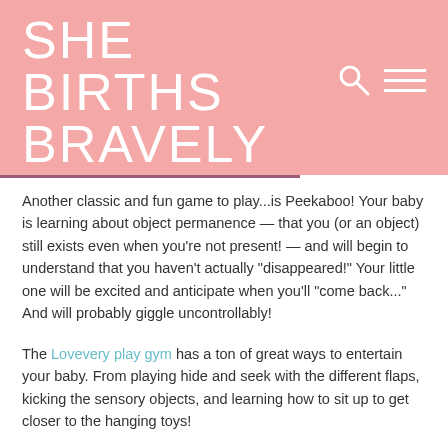SHE BIRTHS BRAVELY
Another classic and fun game to play...is Peekaboo! Your baby is learning about object permanence — that you (or an object) still exists even when you're not present! — and will begin to understand that you haven't actually "disappeared!" Your little one will be excited and anticipate when you'll "come back..." And will probably giggle uncontrollably!
The Lovevery play gym has a ton of great ways to entertain your baby. From playing hide and seek with the different flaps, kicking the sensory objects, and learning how to sit up to get closer to the hanging toys!